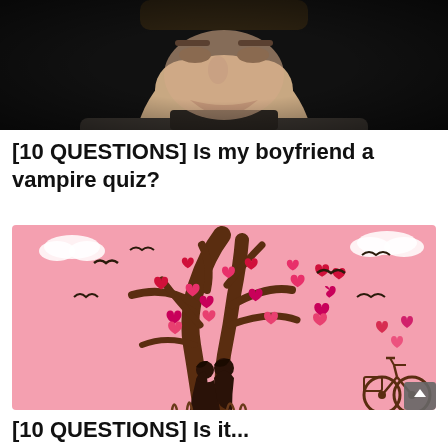[Figure (photo): Close-up photo of a young man's face from nose up, dark background, wearing dark clothing]
[10 QUESTIONS] Is my boyfriend a vampire quiz?
[Figure (illustration): Pink background illustration of a decorative tree with red heart-shaped flowers/leaves, flying birds, silhouettes of a couple standing beneath the tree, and a bicycle in the lower right corner]
[10 QUESTIONS] Is it...